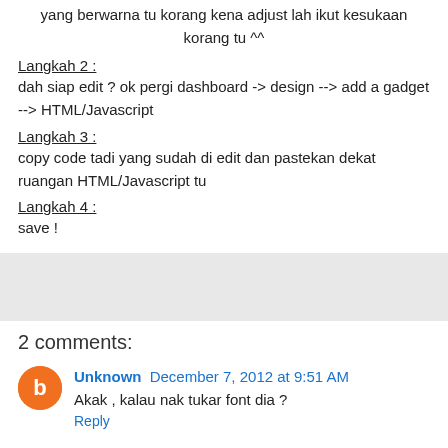yang berwarna tu korang kena adjust lah ikut kesukaan korang tu ^^
Langkah 2 :
dah siap edit ? ok pergi dashboard -> design --> add a gadget --> HTML/Javascript
Langkah 3 :
copy code tadi yang sudah di edit dan pastekan dekat ruangan HTML/Javascript tu
Langkah 4 :
save !
[Figure (other): Gray horizontal bar separator]
2 comments:
Unknown  December 7, 2012 at 9:51 AM
Akak , kalau nak tukar font dia ?
Reply